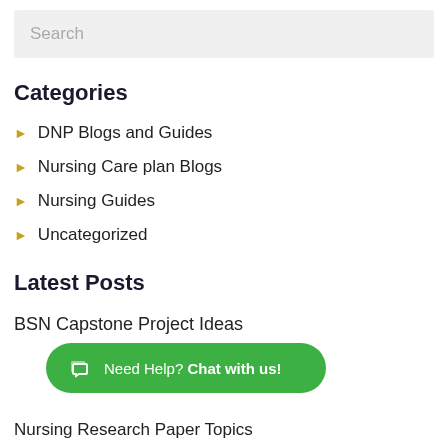Search
Categories
DNP Blogs and Guides
Nursing Care plan Blogs
Nursing Guides
Uncategorized
Latest Posts
BSN Capstone Project Ideas
Need Help? Chat with us!
Nursing Research Paper Topics